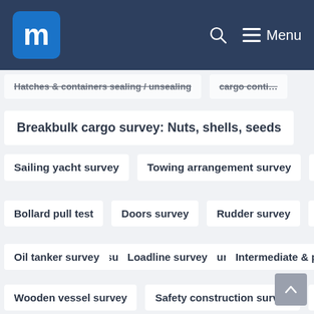m Menu
Hatches & containers sealing / unsealing
cargo conti...
Breakbulk cargo survey: Nuts, shells, seeds
Sailing yacht survey
Towing arrangement survey
Boat...
Bollard pull test
Doors survey
Rudder survey
Propell...
Anchors & chains survey
Salvage survey
Oil spill consu...
Oil tanker survey
Loadline survey
Intermediate & perio...
Wooden vessel survey
Safety construction survey
Bilge...
Boiler survey
Tailshaft survey
Infrared inspection